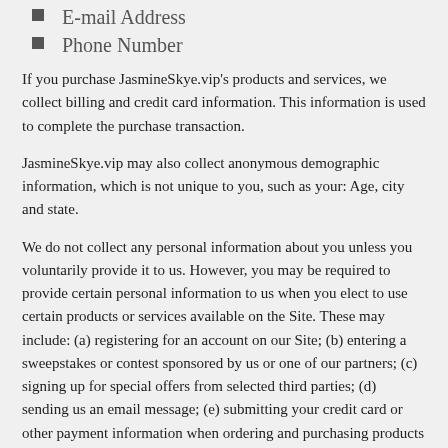E-mail Address
Phone Number
If you purchase JasmineSkye.vip's products and services, we collect billing and credit card information. This information is used to complete the purchase transaction.
JasmineSkye.vip may also collect anonymous demographic information, which is not unique to you, such as your: Age, city and state.
We do not collect any personal information about you unless you voluntarily provide it to us. However, you may be required to provide certain personal information to us when you elect to use certain products or services available on the Site. These may include: (a) registering for an account on our Site; (b) entering a sweepstakes or contest sponsored by us or one of our partners; (c) signing up for special offers from selected third parties; (d) sending us an email message; (e) submitting your credit card or other payment information when ordering and purchasing products and services on our Site. To wit, we will use your information for, but not limited to, communicating with you in relation to services and/or products you have requested from us. We also may gather additional personal or non-personal information in the future.
Use of your Personal Information